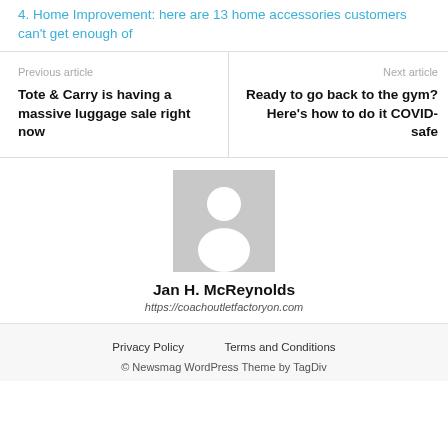4. Home Improvement: here are 13 home accessories customers can't get enough of
Previous article
Tote & Carry is having a massive luggage sale right now
Next article
Ready to go back to the gym? Here's how to do it COVID-safe
[Figure (photo): Generic avatar/placeholder profile image - gray square with white silhouette of a person]
Jan H. McReynolds
https://coachoutletfactoryon.com
Privacy Policy    Terms and Conditions
© Newsmag WordPress Theme by TagDiv